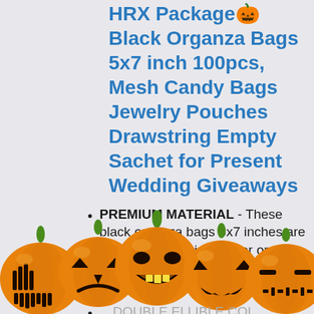HRX Package🎃Black Organza Bags 5x7 inch 100pcs, Mesh Candy Bags Jewelry Pouches Drawstring Empty Sachet for Present Wedding Giveaways
PREMIUM MATERIAL - These black organza bags 5x7 inches are made with premium sheer organza, the satin drawstring makes the organza bags easy...
[Figure (illustration): Row of five Halloween jack-o-lantern pumpkins with different carved face expressions, orange with green stems]
...DOUBLE ELLED CE COL...